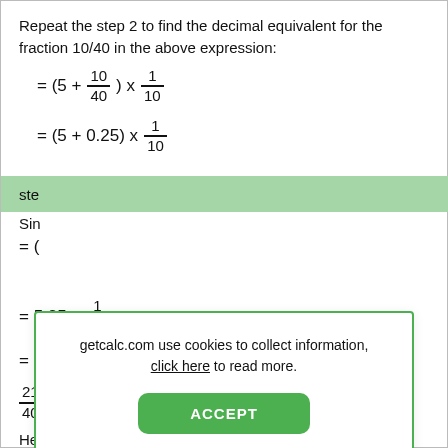Repeat the step 2 to find the decimal equivalent for the fraction 10/40 in the above expression:
ste
Sin
getcalc.com use cookies to collect information, click here to read more.
Hence,